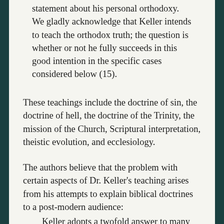statement about his personal orthodoxy. We gladly acknowledge that Keller intends to teach the orthodox truth; the question is whether or not he fully succeeds in this good intention in the specific cases considered below (15).
These teachings include the doctrine of sin, the doctrine of hell, the doctrine of the Trinity, the mission of the Church, Scriptural interpretation, theistic evolution, and ecclesiology.
The authors believe that the problem with certain aspects of Dr. Keller's teaching arises from his attempts to explain biblical doctrines to a post-modern audience:
Keller adopts a twofold answer to many